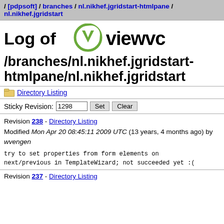/ [pdpsoft] / branches / nl.nikhef.jgridstart-htmlpane / nl.nikhef.jgridstart
Log of
[Figure (logo): ViewVC logo with green V icon and bold 'viewvc' text]
/branches/nl.nikhef.jgridstart-htmlpane/nl.nikhef.jgridstart
Directory Listing
Sticky Revision: 1298  Set  Clear
Revision 238 - Directory Listing
Modified Mon Apr 20 08:45:11 2009 UTC (13 years, 4 months ago) by wvengen

try to set properties from form elements on next/previous in TemplateWizard; not succeeded yet :(
Revision 237 - Directory Listing